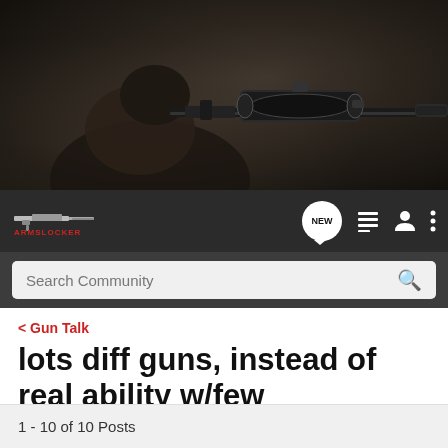[Figure (photo): Close-up photo of a person aiming a rifle with scope, viewed from behind/side, dark tones]
[Figure (logo): ArmsLocker logo with rifle silhouette in dark navbar]
Search Community
< Gun Talk
lots diff guns, instead of real ability w/few
→ Jump to Latest
+ Follow
1 - 10 of 10 Posts